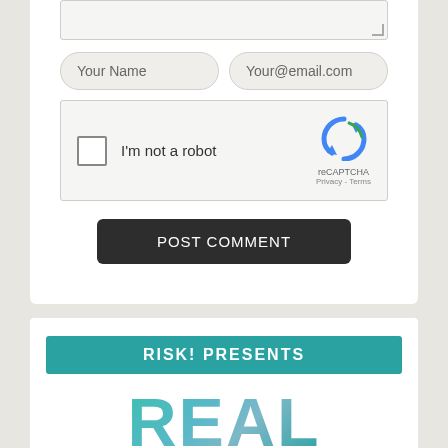[Figure (screenshot): Web form section showing a textarea stub, name and email input fields, a reCAPTCHA widget with 'I'm not a robot' checkbox, and a 'POST COMMENT' button]
[Figure (infographic): Advertisement card with teal 'RISK! PRESENTS' banner and large teal 'REAL' text below]